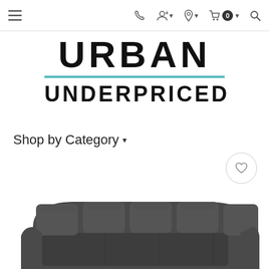Urban Underpriced navigation bar with menu, phone, account, location, cart (0), and search icons
URBAN UNDERPRICED
Shop by Category ▾
[Figure (photo): Dark gray curved sectional sofa viewed from above/front, partially cropped at bottom of page]